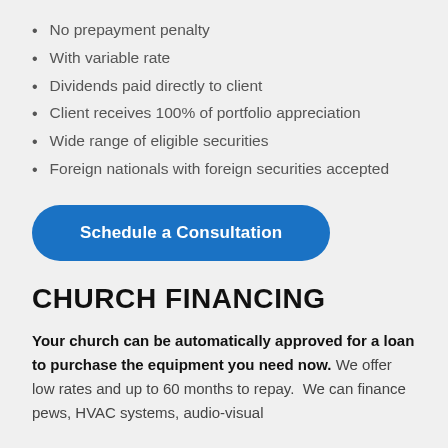No prepayment penalty
With variable rate
Dividends paid directly to client
Client receives 100% of portfolio appreciation
Wide range of eligible securities
Foreign nationals with foreign securities accepted
Schedule a Consultation
CHURCH FINANCING
Your church can be automatically approved for a loan to purchase the equipment you need now. We offer low rates and up to 60 months to repay.  We can finance pews, HVAC systems, audio-visual